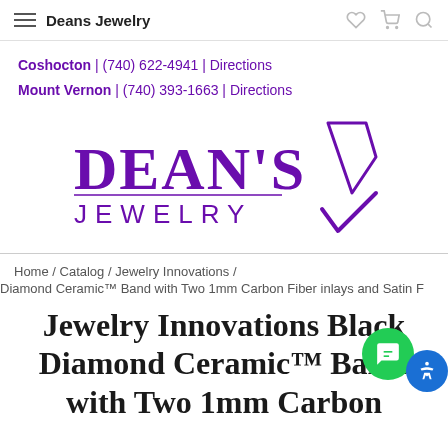Deans Jewelry
Coshocton | (740) 622-4941 | Directions
Mount Vernon | (740) 393-1663 | Directions
[Figure (logo): Dean's Jewelry logo in purple with diamond shape icon]
Home / Catalog / Jewelry Innovations /
Diamond Ceramic™ Band with Two 1mm Carbon Fiber inlays and Satin F
Jewelry Innovations Black Diamond Ceramic™ Band with Two 1mm Carbon